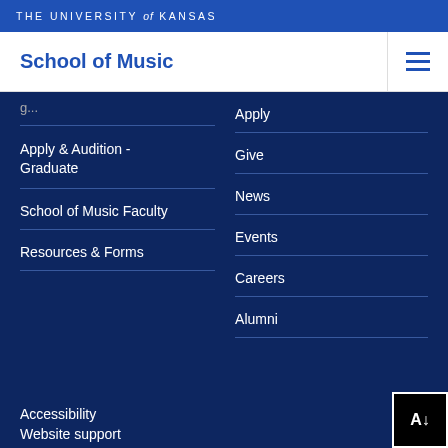THE UNIVERSITY of KANSAS
School of Music
Apply & Audition - Graduate
School of Music Faculty
Resources & Forms
Apply
Give
News
Events
Careers
Alumni
Accessibility
Website support